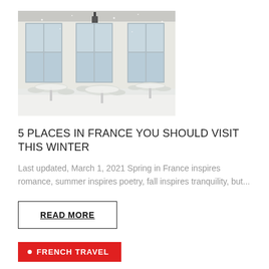[Figure (photo): Outdoor café scene in winter: white snow-covered wrought-iron tables and chairs in front of a building with three tall blue-grey shuttered French doors and a lantern above, light snow visible.]
5 PLACES IN FRANCE YOU SHOULD VISIT THIS WINTER
Last updated, March 1, 2021 Spring in France inspires romance, summer inspires poetry, fall inspires tranquility, but...
READ MORE
• FRENCH TRAVEL